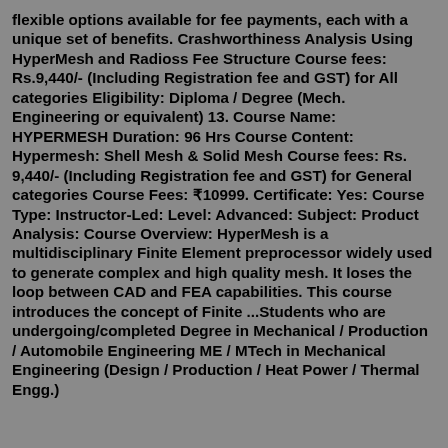flexible options available for fee payments, each with a unique set of benefits. Crashworthiness Analysis Using HyperMesh and Radioss Fee Structure Course fees: Rs.9,440/- (Including Registration fee and GST) for All categories Eligibility: Diploma / Degree (Mech. Engineering or equivalent) 13. Course Name: HYPERMESH Duration: 96 Hrs Course Content: Hypermesh: Shell Mesh & Solid Mesh Course fees: Rs. 9,440/- (Including Registration fee and GST) for General categories Course Fees: ₹10999. Certificate: Yes: Course Type: Instructor-Led: Level: Advanced: Subject: Product Analysis: Course Overview: HyperMesh is a multidisciplinary Finite Element preprocessor widely used to generate complex and high quality mesh. It loses the loop between CAD and FEA capabilities. This course introduces the concept of Finite ...Students who are undergoing/completed Degree in Mechanical / Production / Automobile Engineering ME / MTech in Mechanical Engineering (Design / Production / Heat Power / Thermal Engg.)